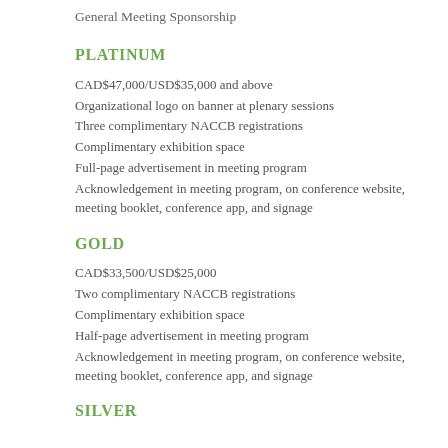General Meeting Sponsorship
PLATINUM
CAD$47,000/USD$35,000 and above
Organizational logo on banner at plenary sessions
Three complimentary NACCB registrations
Complimentary exhibition space
Full-page advertisement in meeting program
Acknowledgement in meeting program, on conference website, meeting booklet, conference app, and signage
GOLD
CAD$33,500/USD$25,000
Two complimentary NACCB registrations
Complimentary exhibition space
Half-page advertisement in meeting program
Acknowledgement in meeting program, on conference website, meeting booklet, conference app, and signage
SILVER